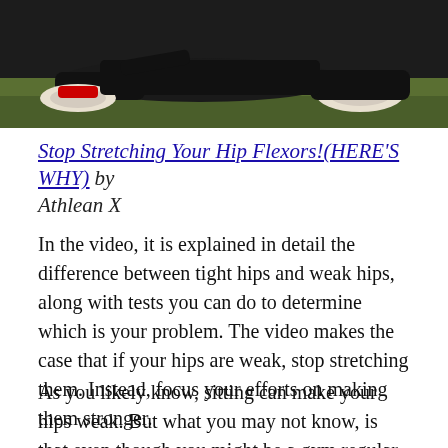[Figure (photo): Photo of a person stretching on grass, wearing dark athletic clothes and Nike sneakers with red accents. The scene shows legs and feet on a green turf surface against a dark background.]
Stop Stretching Your Hip Flexors!(HERE'S WHY) by Athlean X
In the video, it is explained in detail the difference between tight hips and weak hips, along with tests you can do to determine which is your problem. The video makes the case that if your hips are weak, stop stretching them. Instead, focus your efforts on making them stronger.
As you likely know, sitting can make your hips weak. But what you may not know, is that even though you might be a gym regular and have strong